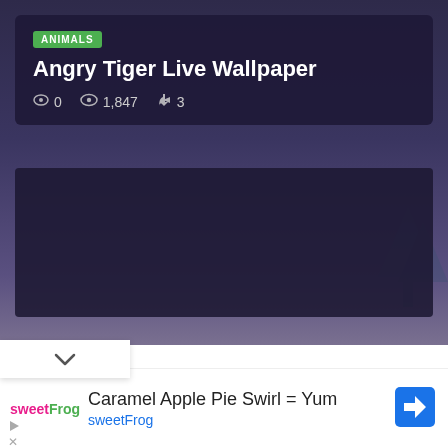[Figure (screenshot): App listing screenshot showing 'Angry Tiger Live Wallpaper' with ANIMALS badge, stats (0 comments, 1,847 views, 3 likes), and a dark preview card]
Angry Tiger Live Wallpaper
0  1,847  3
[Figure (screenshot): Advertisement for sweetFrog: 'Caramel Apple Pie Swirl = Yum' with sweetFrog brand name and navigation arrow icon]